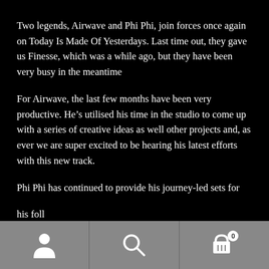Two legends, Airwave and Phi Phi, join forces once again on Today Is Made Of Yesterdays. Last time out, they gave us Finesse, which was a while ago, but they have been very busy in the meantime
For Airwave, the last few months have been very productive. He’s utilised his time in the studio to come up with a series of creative ideas as well other projects and, as ever we are super excited to be hearing his latest efforts with this new track.
Phi Phi has continued to provide his journey-led sets for his followers...
[Figure (screenshot): Mobile app navigation bar with three icons: person/profile icon on left, search magnifying glass icon in center, shopping cart with badge showing '0' on right]